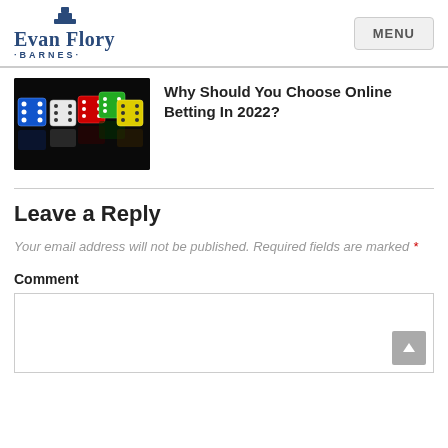Evan Flory Barnes — MENU
[Figure (photo): Colorful dice (blue, white, red, green, yellow) on a dark background]
Why Should You Choose Online Betting In 2022?
Leave a Reply
Your email address will not be published. Required fields are marked *
Comment